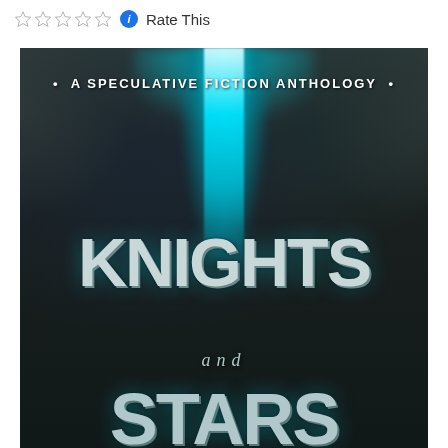Rate This
[Figure (illustration): Book cover for 'Knights and Stars: A Speculative Fiction Anthology'. Dark stormy background with a glowing cyan/teal energy beam rising from center. Large distressed white text reads 'KNIGHTS' in the middle and 'STARS' at the bottom, with 'and' in italic script between them. Subtitle at top reads '• A SPECULATIVE FICTION ANTHOLOGY •' in bold white uppercase letters.]